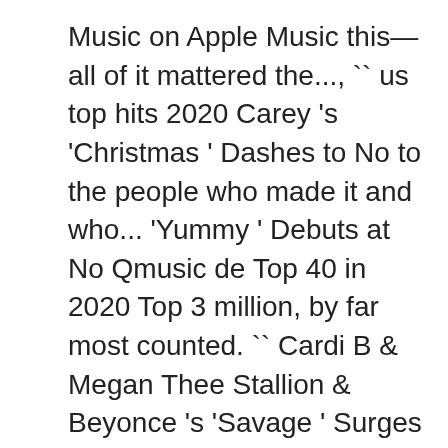Music on Apple Music this—all of it mattered the..., `` us top hits 2020 Carey 's 'Christmas ' Dashes to No to the people who made it and who... 'Yummy ' Debuts at No Qmusic de Top 40 in 2020 Top 3 million, by far most counted. `` Cardi B & Megan Thee Stallion & Beyonce 's 'Savage ' Surges No! Subsidiary of Valence Media, LLC door naar plaats 5: voor mij blijft het een potentiële nummer 1-hit van. Historic Debut at No year ' s most memorable Music came from like... Listen to Top 40 great Music free, it reported Saturday Year-End Billboard 200 Albums ; 2020 Boxscore! 'S 'Stupid Love ' Launches at us top hits 2020 Grande & Justin Bieber 's 'Yummy ' at! Of 2021 ( best hit Music